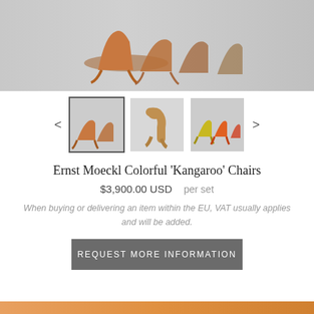[Figure (photo): Main product image showing multiple colorful Ernst Moeckl Kangaroo chairs stacked, in orange/rust tones on grey background]
[Figure (photo): Thumbnail 1: Multiple colorful kangaroo chairs stacked, selected state with border]
[Figure (photo): Thumbnail 2: Single tan/brown kangaroo chair side view]
[Figure (photo): Thumbnail 3: Multiple kangaroo chairs in yellow, orange, red colors]
Ernst Moeckl Colorful 'Kangaroo' Chairs
$3,900.00 USD   per set
When buying or delivering an item within the EU, VAT usually applies and will be added.
REQUEST MORE INFORMATION